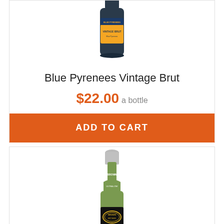[Figure (photo): Top portion of a wine bottle with blue and orange label reading VINTAGE BRUT, partially cropped at top of page]
Blue Pyrenees Vintage Brut
$22.00 a bottle
ADD TO CART
[Figure (photo): A wine bottle with silver foil top, labeled BROWN, ULTRA LOW, with a black label featuring gold ornate design, partially cropped at bottom of page]